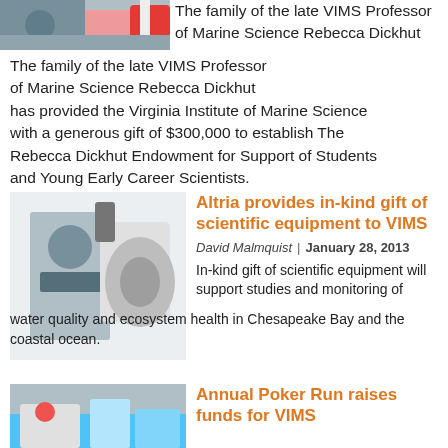[Figure (photo): Photo of a person near water with red and white colors visible]
The family of the late VIMS Professor of Marine Science Rebecca Dickhut has provided the Virginia Institute of Marine Science with a generous gift of $300,000 to establish The Rebecca Dickhut Endowment for Support of Students and Young Early Career Scientists.
[Figure (photo): Photo of a scientist in a lab coat working with a centrifuge]
Altria provides in-kind gift of scientific equipment to VIMS
David Malmquist  |  January 28, 2013
In-kind gift of scientific equipment will support studies and monitoring of water quality and ecosystem health in Chesapeake Bay and the coastal ocean.
[Figure (photo): Photo of people near boats at a marina]
Annual Poker Run raises funds for VIMS